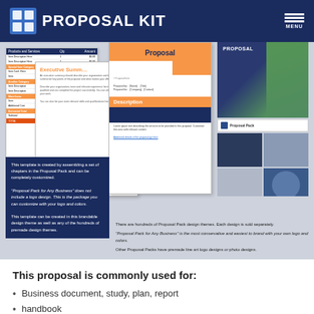Proposal Kit
[Figure (screenshot): Collage of Proposal Kit document templates including table, executive summary, proposal cover, description page, and multiple design theme thumbnails with overlay text boxes explaining customization options and design themes.]
This proposal is commonly used for:
Business document, study, plan, report
handbook